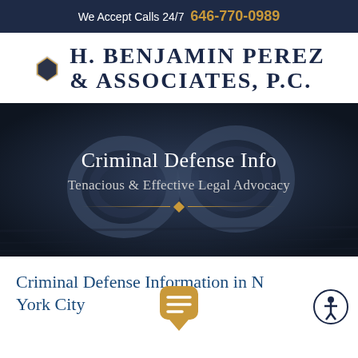We Accept Calls 24/7  646-770-0989
H. BENJAMIN PEREZ & ASSOCIATES, P.C.
[Figure (photo): Dark background image of handcuffs on a wooden surface, overlaid with text 'Criminal Defense Info' and 'Tenacious & Effective Legal Advocacy' with a gold decorative divider line.]
Criminal Defense Information in New York City